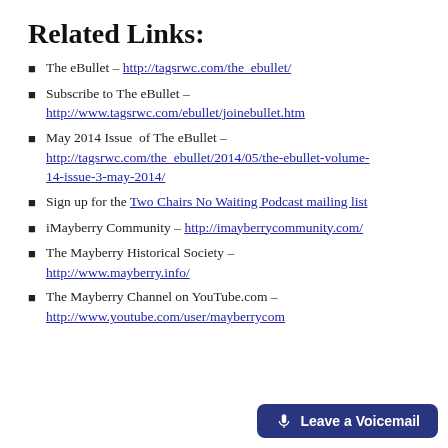Related Links:
The eBullet – http://tagsrwc.com/the_ebullet/
Subscribe to The eBullet – http://www.tagsrwc.com/ebullet/joinebullet.htm
May 2014 Issue  of The eBullet – http://tagsrwc.com/the_ebullet/2014/05/the-ebullet-volume-14-issue-3-may-2014/
Sign up for the Two Chairs No Waiting Podcast mailing list
iMayberry Community – http://imayberrycommunity.com/
The Mayberry Historical Society – http://www.mayberry.info/
The Mayberry Channel on YouTube.com – http://www.youtube.com/user/mayberrycom